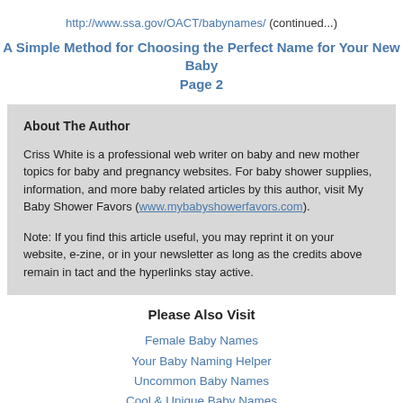http://www.ssa.gov/OACT/babynames/    (continued...)
A Simple Method for Choosing the Perfect Name for Your New Baby
Page 2
About The Author
Criss White is a professional web writer on baby and new mother topics for baby and pregnancy websites. For baby shower supplies, information, and more baby related articles by this author, visit My Baby Shower Favors (www.mybabyshowerfavors.com).
Note: If you find this article useful, you may reprint it on your website, e-zine, or in your newsletter as long as the credits above remain in tact and the hyperlinks stay active.
Please Also Visit
Female Baby Names
Your Baby Naming Helper
Uncommon Baby Names
Cool & Unique Baby Names
1000 Popular Baby Names